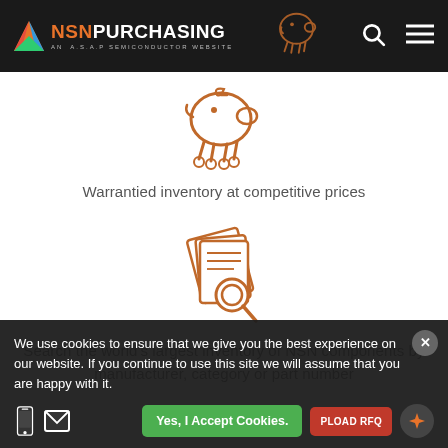NSN PURCHASING — AN A.S.A.P SEMICONDUCTOR WEBSITE
[Figure (illustration): Orange line icon of a piggy bank on wheels]
Warrantied inventory at competitive prices
[Figure (illustration): Orange line icon of documents with a magnifying glass]
Search the world's largest inventory of NSN components by manufacturer, category or part number
We use cookies to ensure that we give you the best experience on our website. If you continue to use this site we will assume that you are happy with it.
Yes, I Accept Cookies.